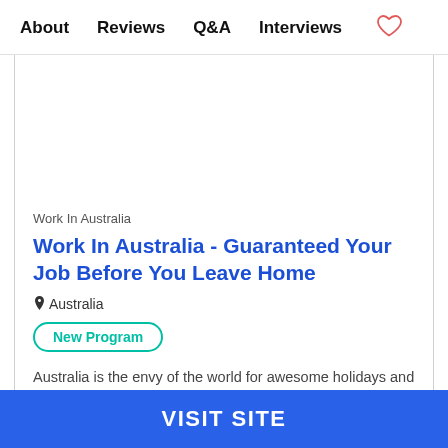About   Reviews   Q&A   Interviews   ♡
Work In Australia
Work In Australia - Guaranteed Your Job Before You Leave Home
Australia
New Program
Australia is the envy of the world for awesome holidays and world...
VISIT SITE